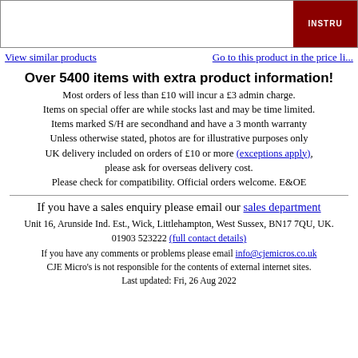[Figure (illustration): Top image bar with white space on left and dark red/maroon section on right with text 'INSTRU']
View similar products    Go to this product in the price li...
Over 5400 items with extra product information!
Most orders of less than £10 will incur a £3 admin charge. Items on special offer are while stocks last and may be time limited. Items marked S/H are secondhand and have a 3 month warranty Unless otherwise stated, photos are for illustrative purposes only UK delivery included on orders of £10 or more (exceptions apply), please ask for overseas delivery cost. Please check for compatibility. Official orders welcome. E&OE
If you have a sales enquiry please email our sales department
Unit 16, Arunside Ind. Est., Wick, Littlehampton, West Sussex, BN17 7QU, UK. 01903 523222 (full contact details)
If you have any comments or problems please email info@cjemicros.co.uk
CJE Micro's is not responsible for the contents of external internet sites.
Last updated: Fri, 26 Aug 2022